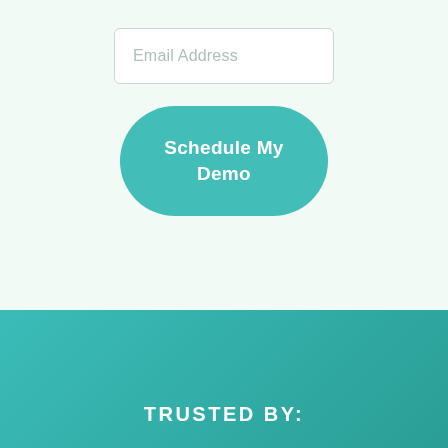Email Address
Schedule My Demo
TRUSTED BY: